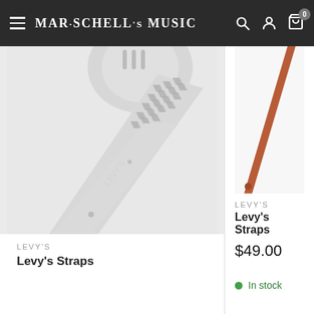Mar·Schell's Music — navigation header with search, account, and cart icons
[Figure (photo): Close-up photo of a silver/white studded leather guitar strap with pyramid studs pattern, shown at an angle]
LEVY'S
Levy's Straps
[Figure (photo): Partial view of a brown/red thin guitar strap on white background]
LEVY'S
Levy's Straps
$49.00
In stock